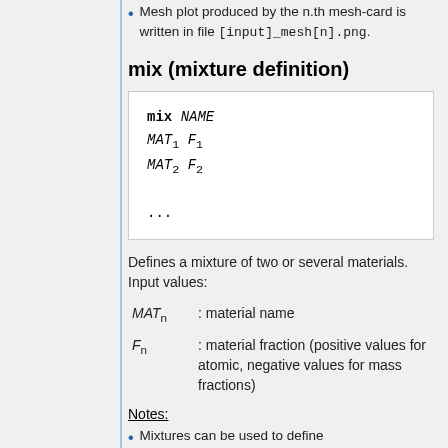Mesh plot produced by the n.th mesh-card is written in file [input]_mesh[n].png.
mix (mixture definition)
Defines a mixture of two or several materials. Input values:
MAT_n : material name
F_n : material fraction (positive values for atomic, negative values for mass fractions)
Notes:
Mixtures can be used to define